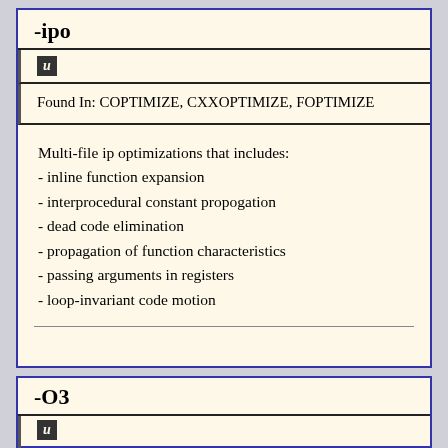-ipo
U
Found In: COPTIMIZE, CXXOPTIMIZE, FOPTIMIZE
Multi-file ip optimizations that includes:
- inline function expansion
- interprocedural constant propogation
- dead code elimination
- propagation of function characteristics
- passing arguments in registers
- loop-invariant code motion
-O3
U
Found In: COPTIMIZE, CXXOPTIMIZE,